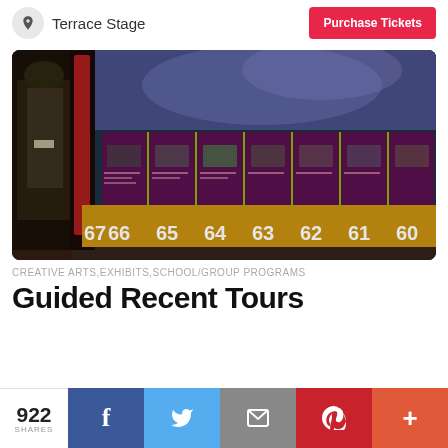Terrace Stage
Purchase Tickets
[Figure (photo): Interior of a museum exhibit showing numbered timeline panels (60-67) along a curved wall with large screen display and military figure.]
CREATIVE ARTS,EXHIBITS,SCHOOL/GROUP PROGRAMS
Guided Recent Tours
922 SHARES
f
Twitter
Email
Pinterest
+